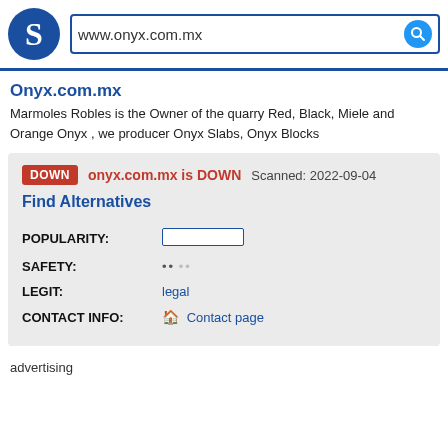[Figure (logo): Blue circle logo with white letter S, followed by search bar with text www.onyx.com.mx and blue search button]
Onyx.com.mx
Marmoles Robles is the Owner of the quarry Red, Black, Miele and Orange Onyx , we producer Onyx Slabs, Onyx Blocks
DOWN  onyx.com.mx is DOWN  Scanned: 2022-09-04
Find Alternatives
|  |  |
| --- | --- |
| POPULARITY: |  |
| SAFETY: |  |
| LEGIT: | legal |
| CONTACT INFO: | Contact page |
advertising